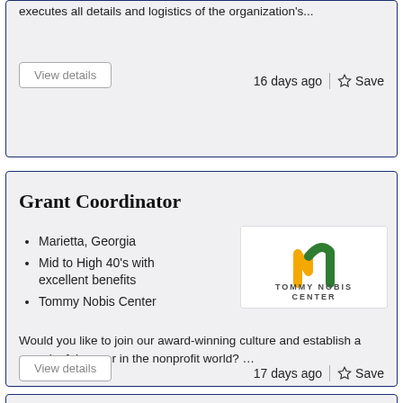executes all details and logistics of the organization's...
View details
16 days ago | Save
Grant Coordinator
Marietta, Georgia
Mid to High 40's with excellent benefits
Tommy Nobis Center
[Figure (logo): Tommy Nobis Center logo with yellow and green N mark and text 'TOMMY NOBIS CENTER — Abilities at Work']
Would you like to join our award-winning culture and establish a meaningful career in the nonprofit world? …
View details
17 days ago | Save